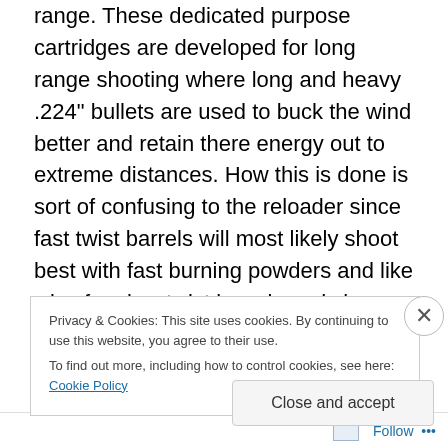range.  These dedicated purpose cartridges are developed for long range shooting where long and heavy .224" bullets are used to buck the wind better and retain there energy out to extreme distances.  How this is done is sort of confusing to the reloader since fast twist barrels will most likely shoot best with fast burning powders and like wise for slow twist barrels and slow powder.  What I have found out is that to obtain the desired results from an Overbore case design is to load up with a slow burning powder, heavy bullets and a fast twist barrel.  The results are the longer the pressures push down those 26+ inch
Privacy & Cookies: This site uses cookies. By continuing to use this website, you agree to their use.
To find out more, including how to control cookies, see here: Cookie Policy
Close and accept
Follow ···